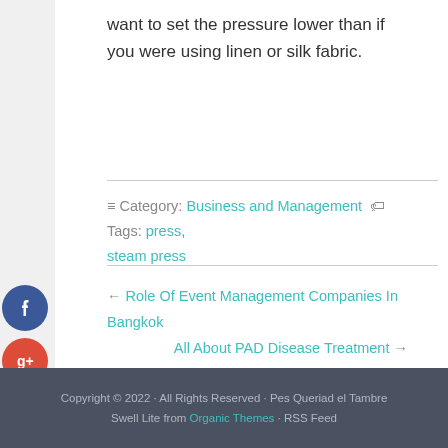want to set the pressure lower than if you were using linen or silk fabric.
Category: Business and Management   Tags: press, steam press
← Role Of Event Management Companies In Bangkok
All About PAD Disease Treatment →
Copyright © 2022 · All Rights Reserved · Pes Queriad el Tambre Swell Lite from Organic Themes · RSS Feed